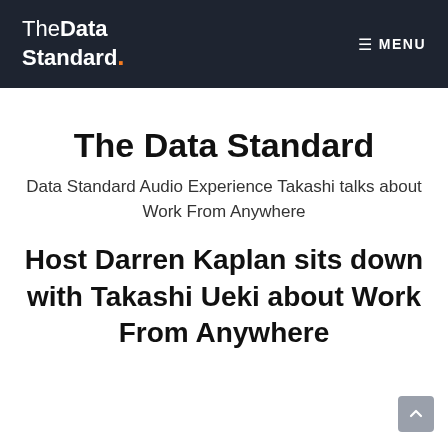The Data Standard. MENU
The Data Standard
Data Standard Audio Experience Takashi talks about Work From Anywhere
Host Darren Kaplan sits down with Takashi Ueki about Work From Anywhere